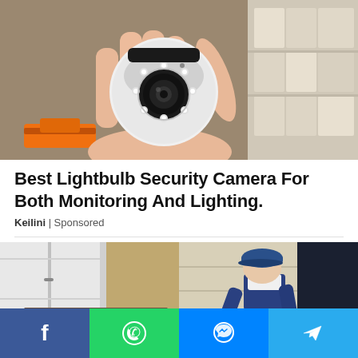[Figure (photo): A hand holding a small white dome security camera with LED lights around the lens, with boxes visible in the background and an orange tool visible.]
Best Lightbulb Security Camera For Both Monitoring And Lighting.
Keilini | Sponsored
[Figure (photo): Two-panel image: left side shows a white van door with a brown padded blanket/furniture cover on the ground; right side shows a person in blue overalls and a blue cap loading or unloading cardboard boxes from a vehicle.]
[Figure (infographic): Social media sharing bar with four buttons: Facebook (blue), WhatsApp (green), Messenger (blue), Telegram (blue).]